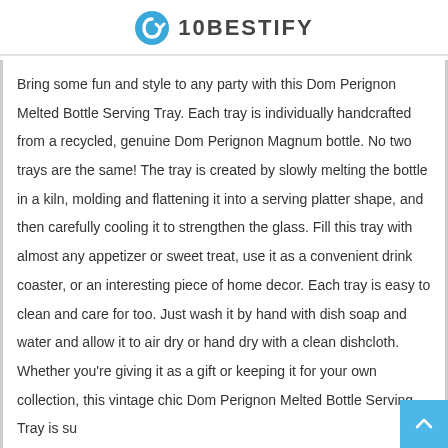10BESTIFY
Bring some fun and style to any party with this Dom Perignon Melted Bottle Serving Tray. Each tray is individually handcrafted from a recycled, genuine Dom Perignon Magnum bottle. No two trays are the same! The tray is created by slowly melting the bottle in a kiln, molding and flattening it into a serving platter shape, and then carefully cooling it to strengthen the glass. Fill this tray with almost any appetizer or sweet treat, use it as a convenient drink coaster, or an interesting piece of home decor. Each tray is easy to clean and care for too. Just wash it by hand with dish soap and water and allow it to air dry or hand dry with a clean dishcloth. Whether you're giving it as a gift or keeping it for your own collection, this vintage chic Dom Perignon Melted Bottle Serving Tray is su